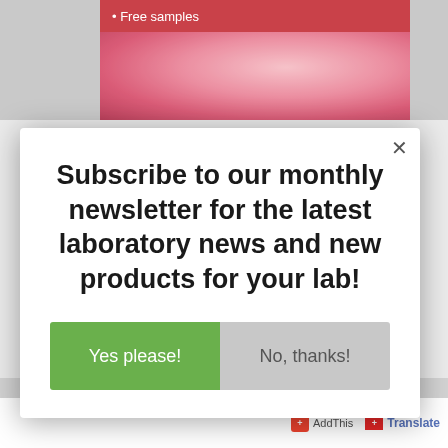[Figure (screenshot): Red banner strip with bullet text 'Free samples' and pink/red circular laboratory image below]
Subscribe to our monthly newsletter for the latest laboratory news and new products for your lab!
Yes please!
No, thanks!